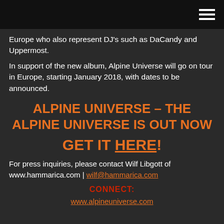Europe who also represent DJ's such as DaCandy and Uppermost.
In support of the new album, Alpine Universe will go on tour in Europe, starting January 2018, with dates to be announced.
ALPINE UNIVERSE – THE ALPINE UNIVERSE IS OUT NOW
GET IT HERE!
For press inquiries, please contact Wilf Libgott of www.hammarica.com | wilf@hammarica.com
CONNECT:
www.alpineuniverse.com